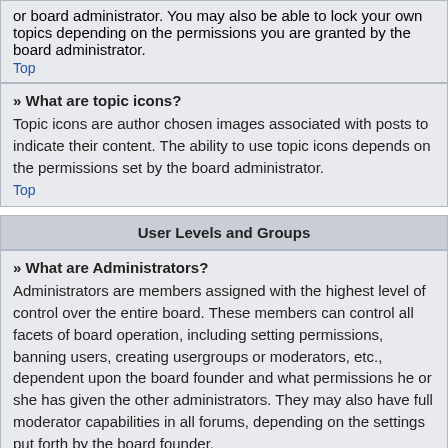or board administrator. You may also be able to lock your own topics depending on the permissions you are granted by the board administrator.
Top
» What are topic icons?
Topic icons are author chosen images associated with posts to indicate their content. The ability to use topic icons depends on the permissions set by the board administrator.
Top
User Levels and Groups
» What are Administrators?
Administrators are members assigned with the highest level of control over the entire board. These members can control all facets of board operation, including setting permissions, banning users, creating usergroups or moderators, etc., dependent upon the board founder and what permissions he or she has given the other administrators. They may also have full moderator capabilities in all forums, depending on the settings put forth by the board founder.
Top
» What are Moderators?
Moderators are individuals (or groups of individuals) who look after the forums from day to day. They have the authority to edit or